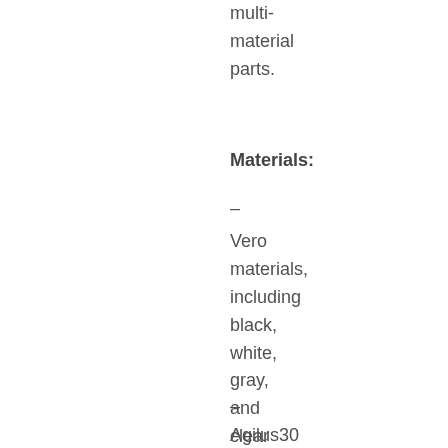multi-material parts.
Materials:
–
Vero materials, including black, white, gray, and clear
–
Agilus30 family